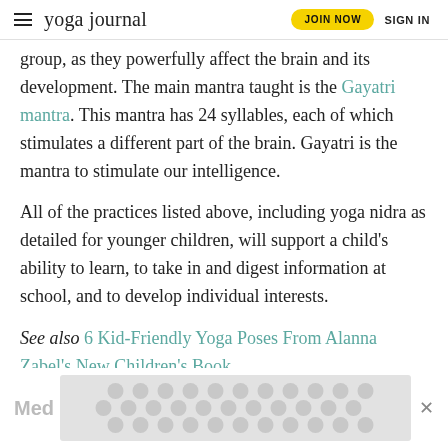yoga journal | JOIN NOW | SIGN IN
group, as they powerfully affect the brain and its development. The main mantra taught is the Gayatri mantra. This mantra has 24 syllables, each of which stimulates a different part of the brain. Gayatri is the mantra to stimulate our intelligence.
All of the practices listed above, including yoga nidra as detailed for younger children, will support a child's ability to learn, to take in and digest information at school, and to develop individual interests.
See also 6 Kid-Friendly Yoga Poses From Alanna Zabel's New Children's Book
[Figure (other): Advertisement banner at the bottom with circular dot pattern and a 'Med' label on the left and close button on the right]